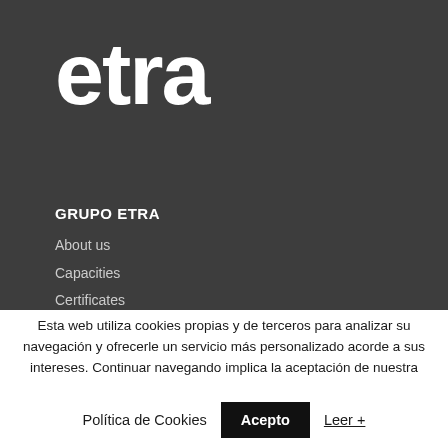[Figure (logo): etra logo in white text on dark grey background]
GRUPO ETRA
About us
Capacities
Certificates
Esta web utiliza cookies propias y de terceros para analizar su navegación y ofrecerle un servicio más personalizado acorde a sus intereses. Continuar navegando implica la aceptación de nuestra
Política de Cookies  Acepto  Leer +